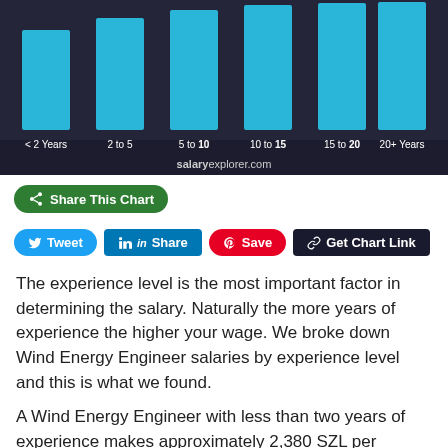[Figure (bar-chart): Bar chart showing salary by experience level with blue bars on dark background. Source: salaryexplorer.com]
Share This Chart
Tweet | Share | Save | Get Chart Link
The experience level is the most important factor in determining the salary. Naturally the more years of experience the higher your wage. We broke down Wind Energy Engineer salaries by experience level and this is what we found.
A Wind Energy Engineer with less than two years of experience makes approximately 2,380 SZL per month.